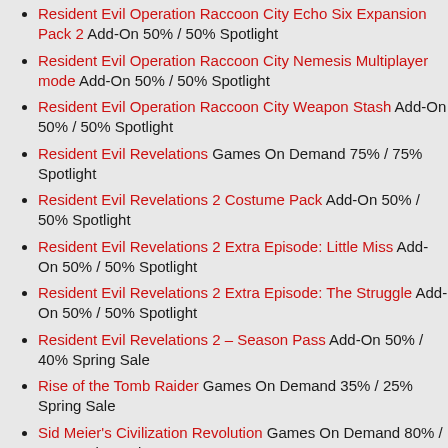Resident Evil Operation Raccoon City Echo Six Expansion Pack 2 Add-On 50% / 50% Spotlight
Resident Evil Operation Raccoon City Nemesis Multiplayer mode Add-On 50% / 50% Spotlight
Resident Evil Operation Raccoon City Weapon Stash Add-On 50% / 50% Spotlight
Resident Evil Revelations Games On Demand 75% / 75% Spotlight
Resident Evil Revelations 2 Costume Pack Add-On 50% / 50% Spotlight
Resident Evil Revelations 2 Extra Episode: Little Miss Add-On 50% / 50% Spotlight
Resident Evil Revelations 2 Extra Episode: The Struggle Add-On 50% / 50% Spotlight
Resident Evil Revelations 2 – Season Pass Add-On 50% / 40% Spring Sale
Rise of the Tomb Raider Games On Demand 35% / 25% Spring Sale
Sid Meier's Civilization Revolution Games On Demand 80% / 70% Spring Sale
Skate 3 Games On Demand 75% / 65% Spring Sale
Skylanders SuperChargers Portal Owner's Pack Add-On 50%